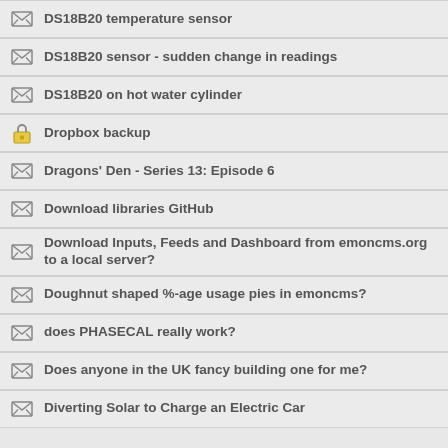DS18B20 temperature sensor
DS18B20 sensor - sudden change in readings
DS18B20 on hot water cylinder
Dropbox backup
Dragons' Den - Series 13: Episode 6
Download libraries GitHub
Download Inputs, Feeds and Dashboard from emoncms.org to a local server?
Doughnut shaped %-age usage pies in emoncms?
does PHASECAL really work?
Does anyone in the UK fancy building one for me?
Diverting Solar to Charge an Electric Car